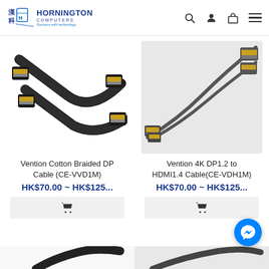[Figure (logo): Hornington Computers logo with Chinese characters, blue shield/book icon, brand name and tagline 'Success with technology']
[Figure (photo): Vention Cotton Braided DP Cable (CE-VVD1M) — two black DisplayPort cable connectors with gold tips on white background]
Vention Cotton Braided DP Cable (CE-VVD1M)
HK$70.00 ~ HK$125...
[Figure (photo): Vention 4K DP1.2 to HDMI 1.4 Cable (CE-VDH1M) — dark gray DisplayPort to HDMI cable connectors on light gray background]
Vention 4K DP1.2 to HDMI1.4 Cable(CE-VDH1M)
HK$70.00 ~ HK$125...